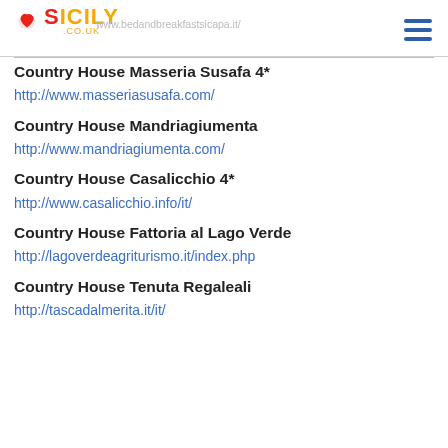SICILY.CO.UK — bed and breakfast sicapa.it/
Country House Masseria Susafa 4*
http://www.masseriasusafa.com/
Country House Mandriagiumenta
http://www.mandriagiumenta.com/
Country House Casalicchio 4*
http://www.casalicchio.info/it/
Country House Fattoria al Lago Verde
http://lagoverdeagriturismo.it/index.php
Country House Tenuta Regaleali
http://tascadalmerita.it/it/